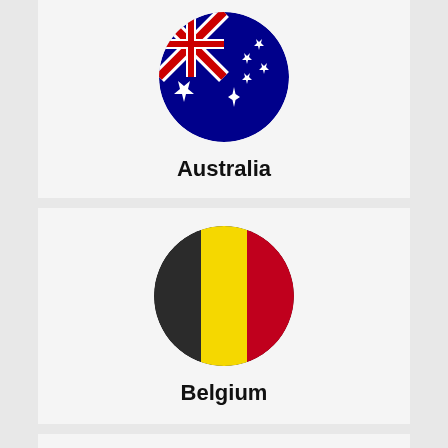[Figure (illustration): Circular Australian flag icon — blue background with Union Jack and Southern Cross stars]
Australia
[Figure (illustration): Circular Belgian flag icon — vertical black, yellow, and red stripes]
Belgium
[Figure (illustration): Circular Canadian flag icon — red and white with maple leaf, partially cropped at bottom]